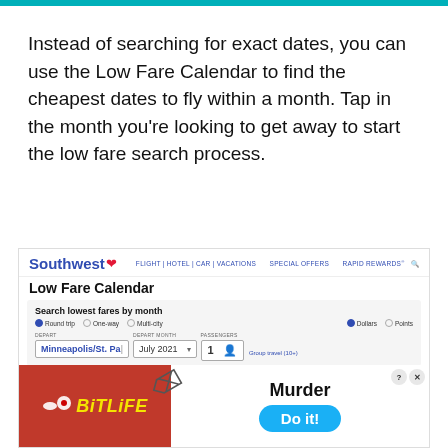Instead of searching for exact dates, you can use the Low Fare Calendar to find the cheapest dates to fly within a month. Tap in the month you're looking to get away to start the low fare search process.
[Figure (screenshot): Southwest Airlines website screenshot showing the Low Fare Calendar page with navigation, search form for lowest fares by month, departure field showing Minneapolis/St. Paul, depart month July 2021, passengers 1, and a BitLife murder game advertisement banner at the bottom.]